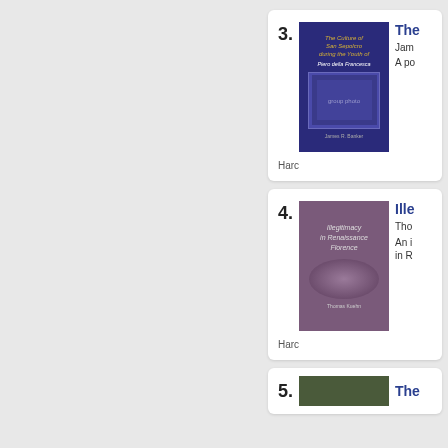[Figure (illustration): Book listing item 3: Book cover for 'The Culture of San Sepolcro during the Youth of Piero della Francesca' by James R. Banker. Dark blue/purple cover with gold title text and group photo image.]
3.
The
Jam
A po
Harc
[Figure (illustration): Book listing item 4: Book cover for 'Illegitimacy in Renaissance Florence' by Thomas Kuehn. Purple/mauve cover with italic script title and swirling wave design.]
4.
Ille
Tho
An i in R
Harc
[Figure (illustration): Book listing item 5 (partial): Book cover partially visible at bottom of page.]
5.
The